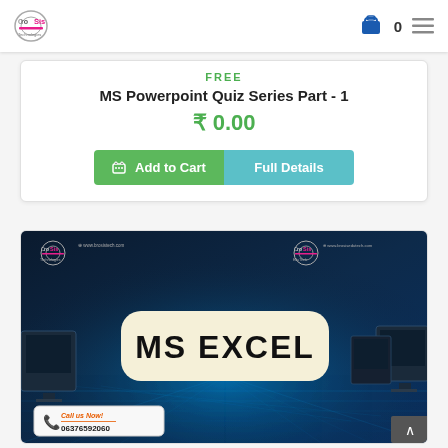BroSis Technologies — Cart 0
FREE
MS Powerpoint Quiz Series Part - 1
₹ 0.00
Add to Cart  Full Details
[Figure (screenshot): MS EXCEL course banner with BroSis Technologies and BroSis EduTech logos, website URLs www.brosistech.com and www.brosisedutech.com, blue tech background with glowing light effect, cream rounded rectangle with bold text 'MS EXCEL', and call-to-action box at bottom-left showing 'Call us Now! 06376592060']